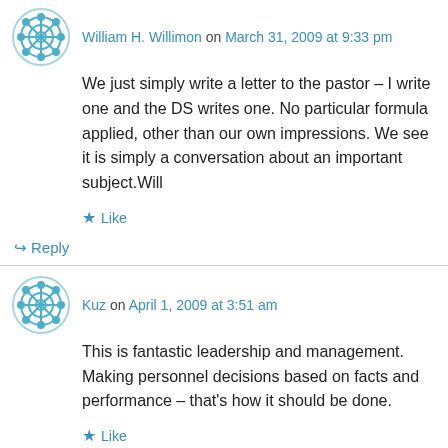William H. Willimon on March 31, 2009 at 9:33 pm
We just simply write a letter to the pastor – I write one and the DS writes one. No particular formula applied, other than our own impressions. We see it is simply a conversation about an important subject.Will
Like
Reply
Kuz on April 1, 2009 at 3:51 am
This is fantastic leadership and management. Making personnel decisions based on facts and performance – that's how it should be done.
Like